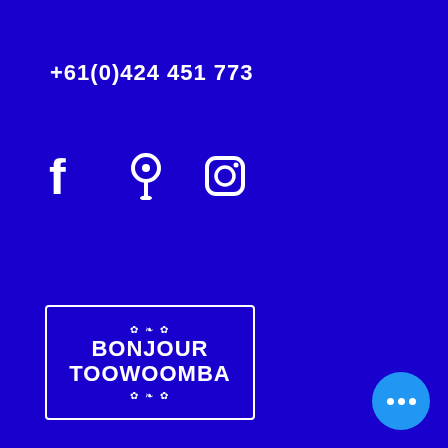[Figure (screenshot): Blue navigation overlay showing phone number +61(0)424 451 773, hamburger menu icon, Facebook, map pin, and Instagram social icons, Bonjour Toowoomba logo in decorative border, and a shopping cart icon showing 0 items]
experience different cultures, lifestyles and found good friends.
What tools would you recommend to people learning this language (free/available online/...)?
Learning German: I would suggest download the LEO App to your phone